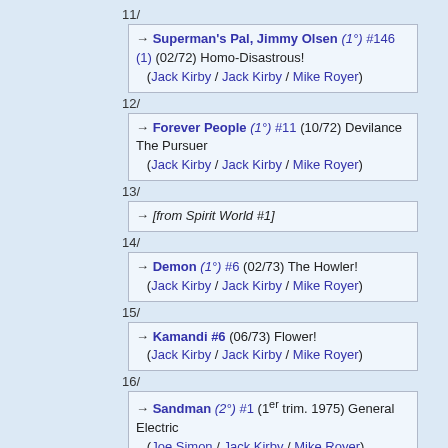11/
→ Superman's Pal, Jimmy Olsen (1°) #146 (1) (02/72) Homo-Disastrous! (Jack Kirby / Jack Kirby / Mike Royer)
12/
→ Forever People (1°) #11 (10/72) Devilance The Pursuer (Jack Kirby / Jack Kirby / Mike Royer)
13/
→ [from Spirit World #1]
14/
→ Demon (1°) #6 (02/73) The Howler! (Jack Kirby / Jack Kirby / Mike Royer)
15/
→ Kamandi #6 (06/73) Flower! (Jack Kirby / Jack Kirby / Mike Royer)
16/
→ Sandman (2°) #1 (1er trim. 1975) General Electric (Joe Simon / Jack Kirby / Mike Royer)
17/
→ OMAC (1°) #1 (09/74)